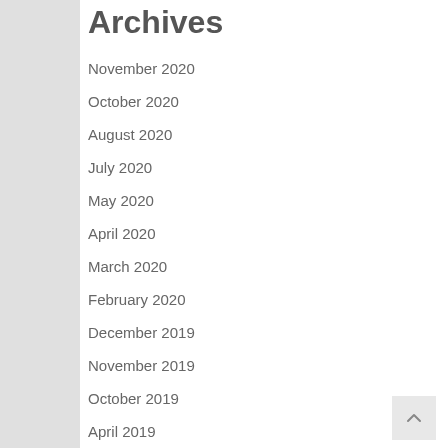Archives
November 2020
October 2020
August 2020
July 2020
May 2020
April 2020
March 2020
February 2020
December 2019
November 2019
October 2019
April 2019
March 2019
February 2019
January 2019
December 2018
November 2018
October 2018